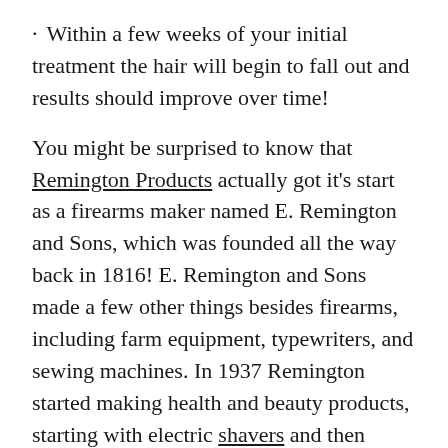Within a few weeks of your initial treatment the hair will begin to fall out and results should improve over time!
You might be surprised to know that Remington Products actually got it's start as a firearms maker named E. Remington and Sons, which was founded all the way back in 1816! E. Remington and Sons made a few other things besides firearms, including farm equipment, typewriters, and sewing machines. In 1937 Remington started making health and beauty products, starting with electric shavers and then branching out into all of the Remington products that we are familiar with today, including curling irons, light-up makeup